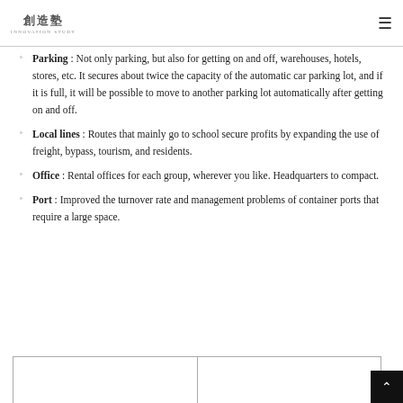創造塾 INNOVATION STUDY
Parking : Not only parking, but also for getting on and off, warehouses, hotels, stores, etc. It secures about twice the capacity of the automatic car parking lot, and if it is full, it will be possible to move to another parking lot automatically after getting on and off.
Local lines : Routes that mainly go to school secure profits by expanding the use of freight, bypass, tourism, and residents.
Office : Rental offices for each group, wherever you like. Headquarters to compact.
Port : Improved the turnover rate and management problems of container ports that require a large space.
|  |  |